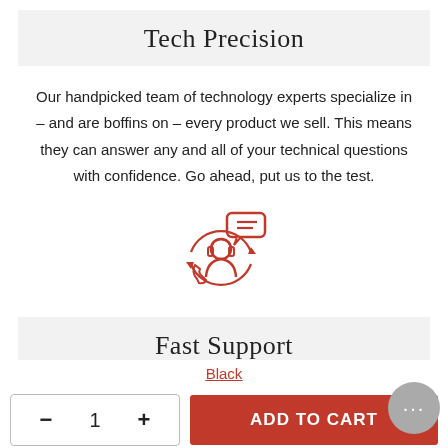Tech Precision
Our handpicked team of technology experts specialize in – and are boffins on – every product we sell. This means they can answer any and all of your technical questions with confidence. Go ahead, put us to the test.
[Figure (illustration): Red outline icon of a customer support agent with headset, circular arrows, phone, and a chat message bubble above.]
Fast Support
We welcome our customers to reach out to us via email
Black
— 1 +
ADD TO CART